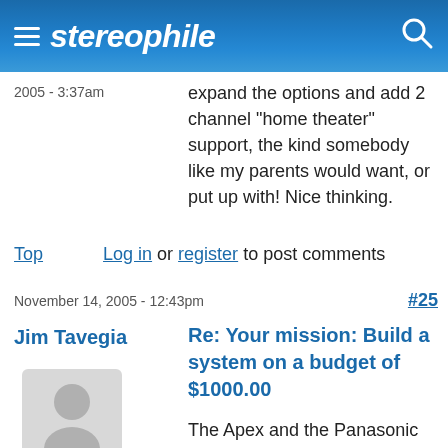stereophile
2005 - 3:37am
expand the options and add 2 channel "home theater" support, the kind somebody like my parents would want, or put up with! Nice thinking.
Top
Log in or register to post comments
November 14, 2005 - 12:43pm
#25
Jim Tavegia
[Figure (illustration): Default user avatar - grey silhouette of a person on light grey background]
Re: Your mission: Build a system on a budget of $1000.00
The Apex and the Panasonic receiver are not anywhere close to the low rung of high